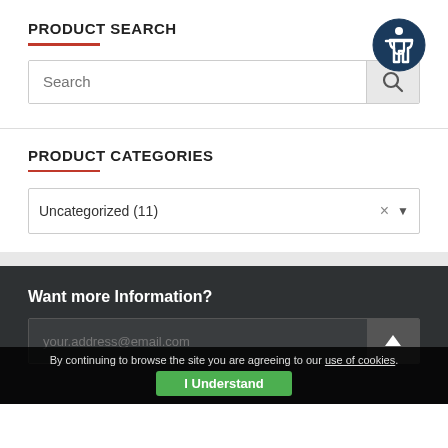PRODUCT SEARCH
[Figure (illustration): Accessibility icon - dark blue circle with white wheelchair/person symbol inside]
Search (placeholder text in search input)
PRODUCT CATEGORIES
Uncategorized  (11)
Want more Information?
your.address@email.com (placeholder in email input)
By continuing to browse the site you are agreeing to our use of cookies.
I Understand